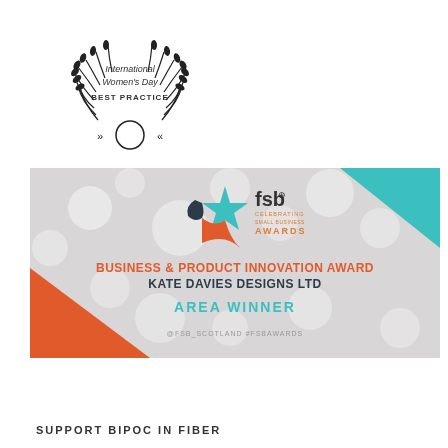[Figure (logo): International Women's Day BEST PRACTICE badge with laurel wreath and circular logo]
[Figure (illustration): FSB Celebrating Small Business Awards banner: BUSINESS & PRODUCT INNOVATION AWARD, KATE DAVIES DESIGNS LTD, AREA WINNER, @FSB_SCOTLAND #FSBAWARDS]
SUPPORT BIPOC IN FIBER